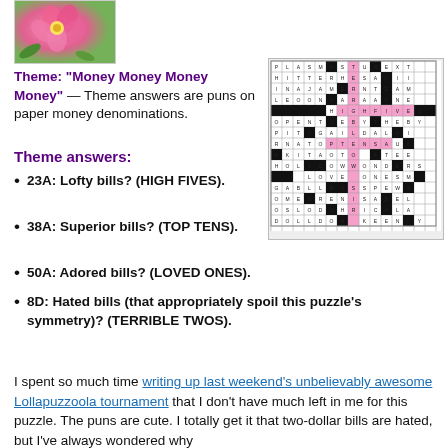[Figure (photo): Pink flower photo in top left corner]
Theme: "Money Money Money Money" — Theme answers are puns on paper money denominations.
Theme answers:
23A: Lofty bills? (HIGH FIVES).
38A: Superior bills? (TOP TENS).
50A: Adored bills? (LOVED ONES).
8D: Hated bills (that appropriately spoil this puzzle's symmetry)? (TERRIBLE TWOS).
[Figure (other): Crossword puzzle grid with some highlighted cells in pink]
I spent so much time writing up last weekend's unbelievably awesome Lollapuzzoola tournament that I don't have much left in me for this puzzle. The puns are cute. I totally get it that two-dollar bills are hated, but I've always wondered why